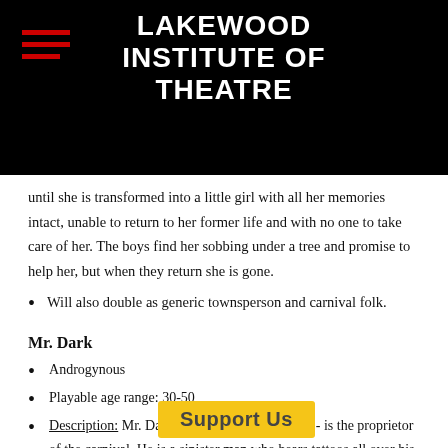LAKEWOOD INSTITUTE OF THEATRE
until she is transformed into a little girl with all her memories intact, unable to return to her former life and with no one to take care of her. The boys find her sobbing under a tree and promise to help her, but when they return she is gone.
Will also double as generic townsperson and carnival folk.
Mr. Dark
Androgynous
Playable age range: 30-50
Description: Mr. Dark - along with Mr. Cooger - is the proprietor of the carnival. He is a sinister man who bears tattoos all over his body, one for each soul he has taken. He
[Figure (other): Support Us banner overlay in yellow/gold color]